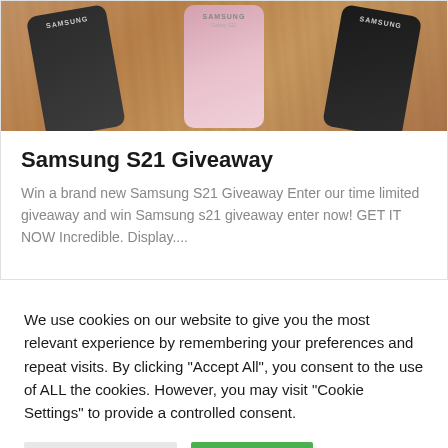[Figure (photo): Three Samsung smartphones displayed from behind on a wooden surface — dark gray on the left, rose/pink in the center, and black on the right — all showing the SAMSUNG branding]
Samsung S21 Giveaway
Win a brand new Samsung S21 Giveaway Enter our time limited giveaway and win Samsung s21 giveaway enter now! GET IT NOW Incredible. Display....
We use cookies on our website to give you the most relevant experience by remembering your preferences and repeat visits. By clicking “Accept All”, you consent to the use of ALL the cookies. However, you may visit “Cookie Settings” to provide a controlled consent.
Cookie Settings | Accept All